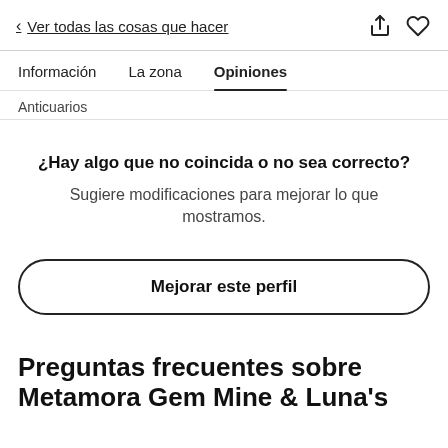< Ver todas las cosas que hacer
Información   La zona   Opiniones
Anticuarios
¿Hay algo que no coincida o no sea correcto? Sugiere modificaciones para mejorar lo que mostramos.
Mejorar este perfil
Preguntas frecuentes sobre Metamora Gem Mine & Luna's